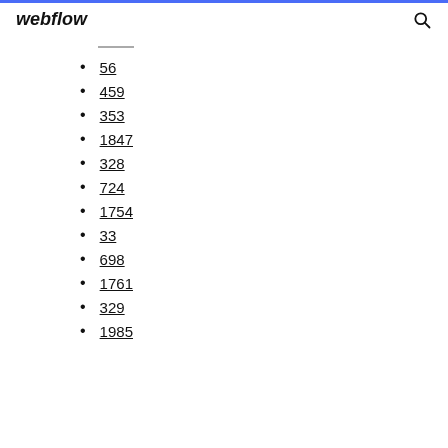webflow
56
459
353
1847
328
724
1754
33
698
1761
329
1985